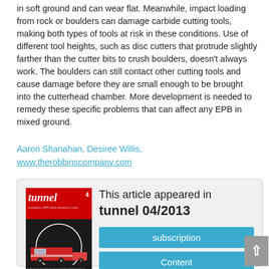in soft ground and can wear flat. Meanwhile, impact loading from rock or boulders can damage carbide cutting tools, making both types of tools at risk in these conditions. Use of different tool heights, such as disc cutters that protrude slightly farther than the cutter bits to crush boulders, doesn't always work. The boulders can still contact other cutting tools and cause damage before they are small enough to be brought into the cutterhead chamber. More development is needed to remedy these specific problems that can affect any EPB in mixed ground.
Aaron Shanahan, Desiree Willis,
www.therobbinscompany.com
[Figure (other): Information box showing magazine cover of 'tunnel 4' issue and text 'This article appeared in tunnel 04/2013' with subscription and Content buttons]